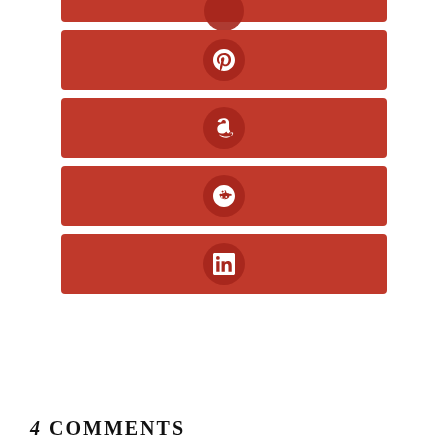[Figure (infographic): Social media share buttons: partial top button (cropped), Pinterest, Amazon, Reddit, LinkedIn — each as a red rounded rectangle with a centered circular icon containing the platform logo in white]
4 COMMENTS